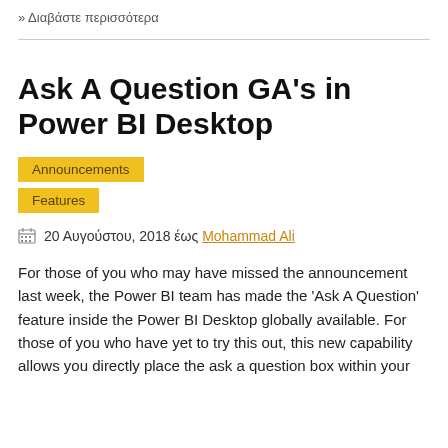» Διαβάστε περισσότερα
Ask A Question GA's in Power BI Desktop
Announcements
Features
20 Αυγούστου, 2018 έως Mohammad Ali
For those of you who may have missed the announcement last week, the Power BI team has made the 'Ask A Question' feature inside the Power BI Desktop globally available. For those of you who have yet to try this out, this new capability allows you directly place the ask a question box within your